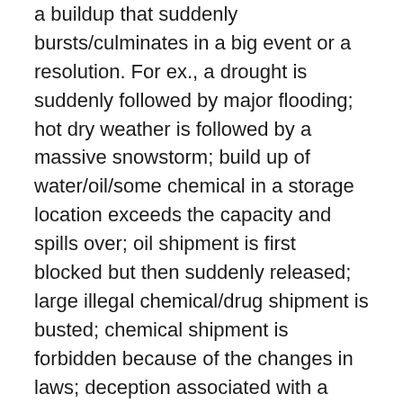a buildup that suddenly bursts/culminates in a big event or a resolution. For ex., a drought is suddenly followed by major flooding; hot dry weather is followed by a massive snowstorm; build up of water/oil/some chemical in a storage location exceeds the capacity and spills over; oil shipment is first blocked but then suddenly released; large illegal chemical/drug shipment is busted; chemical shipment is forbidden because of the changes in laws; deception associated with a religious figure is exposed; movement of immigrants, travelers, or international shipments across some border suddenly stops but then there is a break through after a large build up at the border; and so on. There will likely be increased news about the legal status and international shipments of pharmaceuticals or drugs (legal and not; esp. addictive substances) — there may be some some confusion and